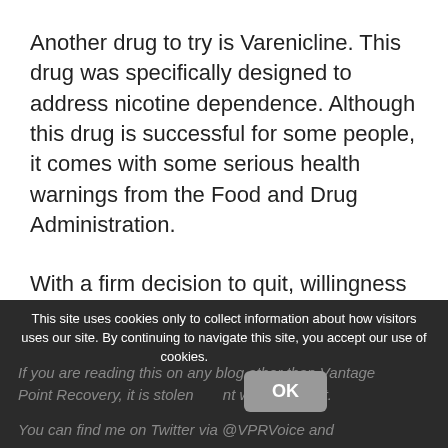Another drug to try is Varenicline. This drug was specifically designed to address nicotine dependence. Although this drug is successful for some people, it comes with some serious health warnings from the Food and Drug Administration.
With a firm decision to quit, willingness to meet the initial discomforts, and the above tools, it's possible to bring your nicotine addiction to an end.
This site uses cookies only to collect information about how visitors uses our site. By continuing to navigate this site, you accept our use of cookies. OK
If you are reading this on any blog other than Vantage Point Recovery, it is stolen content without credit. You can find me on Twitter via @VPRVoice and